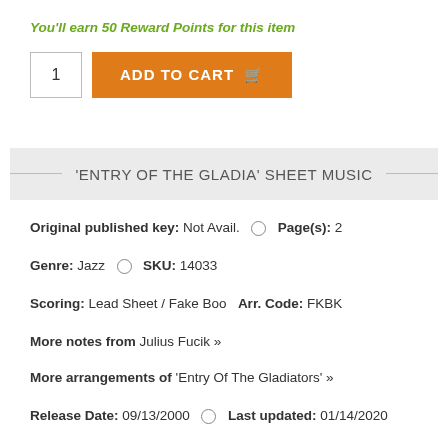You'll earn 50 Reward Points for this item
1  ADD TO CART
'ENTRY OF THE GLADIA' SHEET MUSIC
Original published key: Not Avail.  Page(s): 2
Genre: Jazz  SKU: 14033
Scoring: Lead Sheet / Fake Boo  Arr. Code: FKBK
More notes from Julius Fucik »
More arrangements of 'Entry Of The Gladiators' »
Release Date: 09/13/2000  Last updated: 01/14/2020